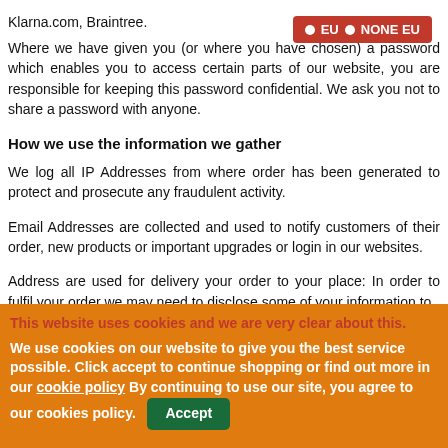Klarna.com, Braintree.
[Figure (infographic): Red badge with white dots and text: EU NONE EU]
Where we have given you (or where you have chosen) a password which enables you to access certain parts of our website, you are responsible for keeping this password confidential. We ask you not to share a password with anyone.
How we use the information we gather
We log all IP Addresses from where order has been generated to protect and prosecute any fraudulent activity.
Email Addresses are collected and used to notify customers of their order, new products or important upgrades or login in our websites.
Address are used for delivery your order to your place: In order to fulfil your order we may need to disclose some of your information to
This website uses cookies and we are very clear about this.
We use cookies on our website to give you the best service possible. Click accept to continue shopping or find out more in our cookie policy By continuing to use our site, you agree to our cookies policy.